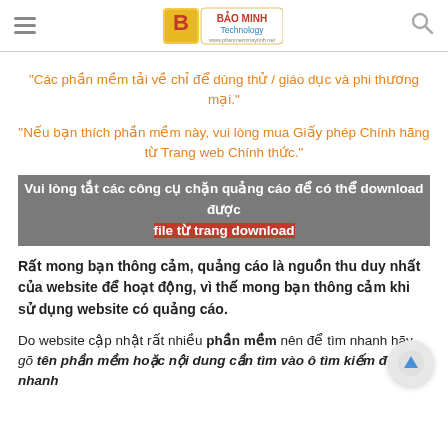Bảo Minh Technology - phanmemmaytinh.net
"Các phần mềm tải về chỉ để dùng thử / giáo dục và phi thương mại."
"Nếu bạn thích phần mềm này, vui lòng mua Giấy phép Chính hãng từ Trang web Chính thức."
Vui lòng tắt các công cụ chặn quảng cáo để có thể download được file từ trang download
Rất mong bạn thông cảm, quảng cáo là nguồn thu duy nhất của website để hoạt động, vì thế mong bạn thông cảm khi sử dụng website có quảng cáo.
Do website cập nhật rất nhiều phần mềm nên để tìm nhanh hãy gõ tên phần mềm hoặc nội dung cần tìm vào ô tìm kiếm để tìm nhanh